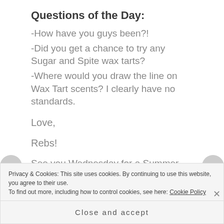Questions of the Day:
-How have you guys been?!
-Did you get a chance to try any Sugar and Spite wax tarts?
-Where would you draw the line on Wax Tart scents? I clearly have no standards.
Love,
Rebs!
See you Wednesday for a Summer EOTD/BOTD!
Privacy & Cookies: This site uses cookies. By continuing to use this website, you agree to their use.
To find out more, including how to control cookies, see here: Cookie Policy
Close and accept